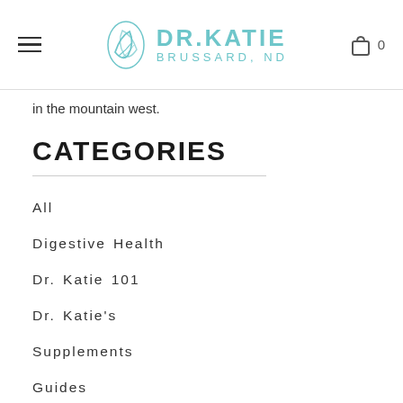DR. KATIE BRUSSARD, ND
in the mountain west.
CATEGORIES
All
Digestive Health
Dr. Katie 101
Dr. Katie's
Supplements
Guides
Hormone Health
Immune Health
Nutrition